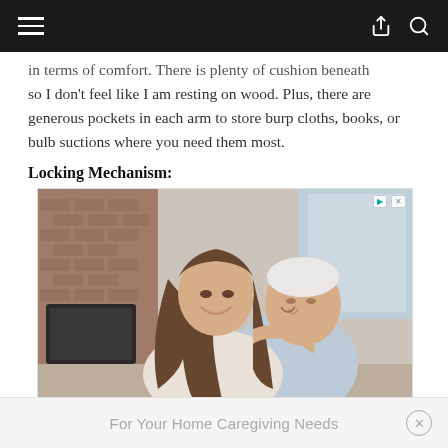in terms of comfort.  There is plenty of cushion beneath so I don't feel like I am resting on wood.  Plus, there are generous pockets in each arm to store burp cloths, books, or bulb suctions where you need them most.
Locking Mechanism:
[Figure (photo): A smiling young woman with long brown hair hugging an older smiling man with white hair, both looking at camera. Indoor setting with brick fireplace and TV visible in background.]
For Your Home Caregiving Needs